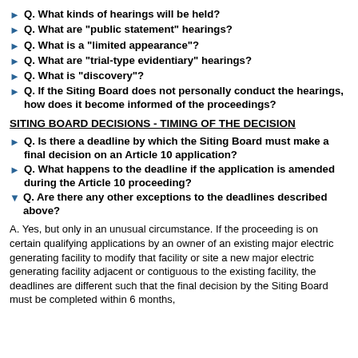Q. What kinds of hearings will be held?
Q. What are "public statement" hearings?
Q. What is a "limited appearance"?
Q. What are "trial-type evidentiary" hearings?
Q. What is "discovery"?
Q. If the Siting Board does not personally conduct the hearings, how does it become informed of the proceedings?
SITING BOARD DECISIONS - TIMING OF THE DECISION
Q. Is there a deadline by which the Siting Board must make a final decision on an Article 10 application?
Q. What happens to the deadline if the application is amended during the Article 10 proceeding?
Q. Are there any other exceptions to the deadlines described above?
A. Yes, but only in an unusual circumstance. If the proceeding is on certain qualifying applications by an owner of an existing major electric generating facility to modify that facility or site a new major electric generating facility adjacent or contiguous to the existing facility, the deadlines are different such that the final decision by the Siting Board must be completed within 6 months,